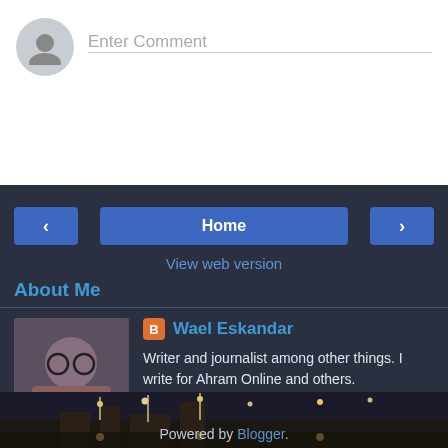Enter Comment
Home
View web version
About Me
Wael Eskandar
Writer and journalist among other things. I write for Ahram Online and others.
Follow me on twitter @weskandar
View my complete profile
Powered by Blogger.